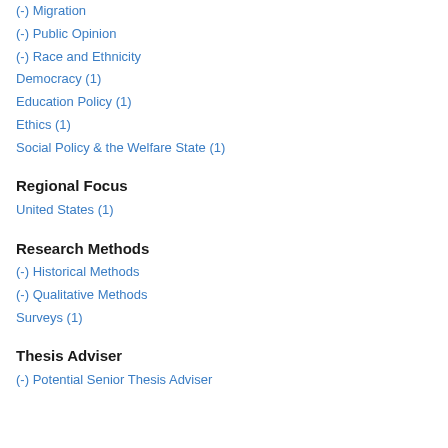(-) Migration
(-) Public Opinion
(-) Race and Ethnicity
Democracy (1)
Education Policy (1)
Ethics (1)
Social Policy & the Welfare State (1)
Regional Focus
United States (1)
Research Methods
(-) Historical Methods
(-) Qualitative Methods
Surveys (1)
Thesis Adviser
(-) Potential Senior Thesis Adviser